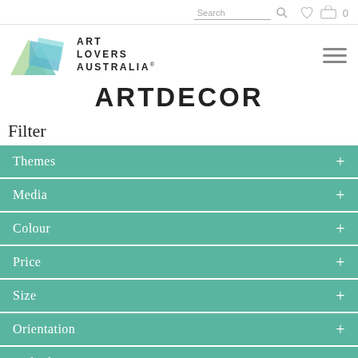Search  🔍  ♡  🛒 0
[Figure (logo): Art Lovers Australia logo with mountain/abstract geometric shapes in teal and green, with text ART LOVERS AUSTRALIA®]
ARTDECOR
Filter
Themes +
Media +
Colour +
Price +
Size +
Orientation +
Order by +